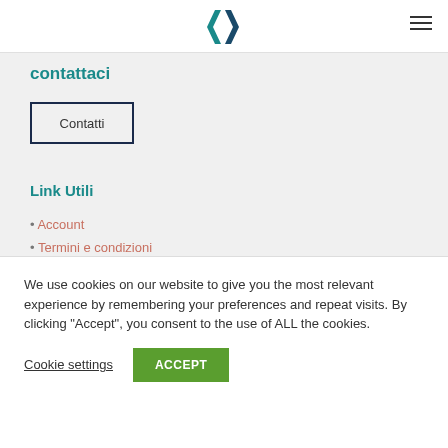[Figure (logo): Stylized double-F logo in teal/dark teal color]
contattaci
Contatti
Link Utili
Account
Termini e condizioni
We use cookies on our website to give you the most relevant experience by remembering your preferences and repeat visits. By clicking “Accept”, you consent to the use of ALL the cookies.
Cookie settings
ACCEPT